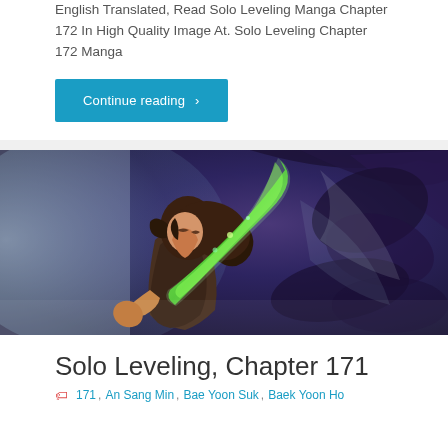English Translated, Read Solo Leveling Manga Chapter 172 In High Quality Image At. Solo Leveling Chapter 172 Manga
Continue reading >
[Figure (illustration): Manga illustration of a male character with dark hair wielding a glowing green blade, surrounded by dark swirling energy. Character appears to be Sung Jin-Woo from Solo Leveling.]
Solo Leveling, Chapter 171
171, An Sang Min, Bae Yoon Suk, Baek Yoon Ho